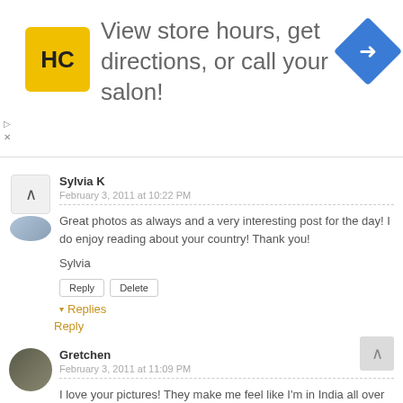[Figure (infographic): Advertisement banner with HC logo (yellow square), text 'View store hours, get directions, or call your salon!', and a blue diamond navigation arrow icon on the right. Small play and close icons on the left side below the logo.]
Sylvia K
February 3, 2011 at 10:22 PM
Great photos as always and a very interesting post for the day! I do enjoy reading about your country! Thank you!
Sylvia
Reply  Delete
▾ Replies
Reply
Gretchen
February 3, 2011 at 11:09 PM
I love your pictures! They make me feel like I'm in India all over again! Thanks for sharing.
Reply  Delete
▾ Replies